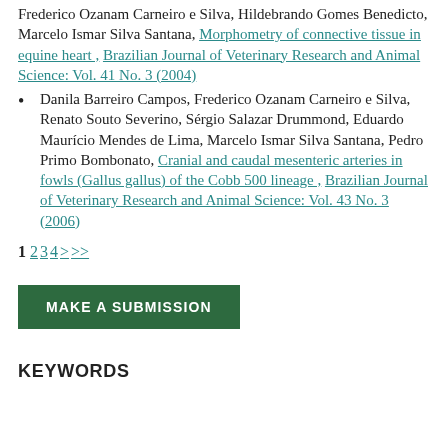Frederico Ozanam Carneiro e Silva, Hildebrando Gomes Benedicto, Marcelo Ismar Silva Santana, Morphometry of connective tissue in equine heart , Brazilian Journal of Veterinary Research and Animal Science: Vol. 41 No. 3 (2004)
Danila Barreiro Campos, Frederico Ozanam Carneiro e Silva, Renato Souto Severino, Sérgio Salazar Drummond, Eduardo Maurício Mendes de Lima, Marcelo Ismar Silva Santana, Pedro Primo Bombonato, Cranial and caudal mesenteric arteries in fowls (Gallus gallus) of the Cobb 500 lineage , Brazilian Journal of Veterinary Research and Animal Science: Vol. 43 No. 3 (2006)
1 2 3 4 > >>
MAKE A SUBMISSION
KEYWORDS